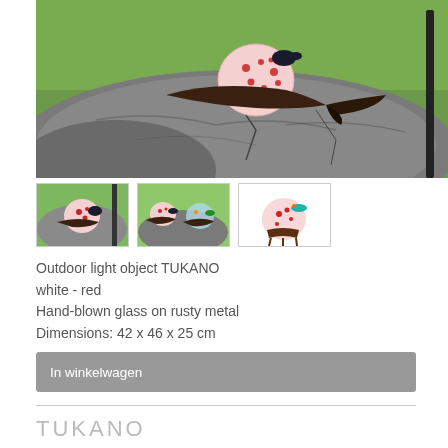[Figure (photo): Close-up photo of a decorative glass bird sculpture (TUKANO) with white and red spotted glass body and dark metal wings, perched on a large grey rock, green blurred background]
[Figure (photo): Thumbnail 1: TUKANO bird sculptures on green background with trees]
[Figure (photo): Thumbnail 2: Two TUKANO bird sculptures on rocks with green lawn background]
[Figure (photo): Thumbnail 3: Single TUKANO bird sculpture isolated on white background]
Outdoor light object TUKANO white - red
Hand-blown glass on rusty metal
Dimensions: 42 x 46 x 25 cm
In winkelwagen
TUKANO